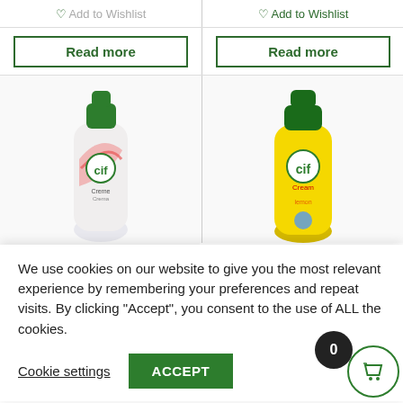Add to Wishlist
Add to Wishlist
Read more
Read more
[Figure (photo): Cif Creme pink/white cleaning bottle]
[Figure (photo): Cif Cream yellow Lemon Fresh 500ml bottle]
We use cookies on our website to give you the most relevant experience by remembering your preferences and repeat visits. By clicking "Accept", you consent to the use of ALL the cookies.
Cookie settings
ACCEPT
l Purpose Cream non Fresh 500ml
!5 inc. VAT
l to Wishli
ad more
Home
Reviews
Help
Login